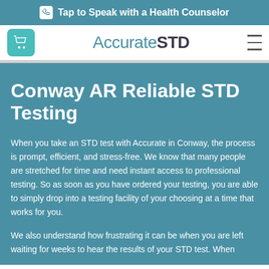Tap to Speak with a Health Counselor
[Figure (logo): AccurateSTD logo with cart icon and hamburger menu]
Conway AR Reliable STD Testing
When you take an STD test with Accurate in Conway, the process is prompt, efficient, and stress-free. We know that many people are stretched for time and need instant access to professional testing. So as soon as you have ordered your testing, you are able to simply drop into a testing facility of your choosing at a time that works for you.
We also understand how frustrating it can be when you are left waiting for weeks to hear the results of your STD test. When